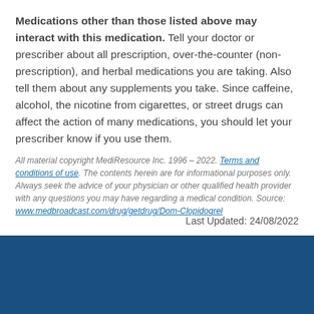Medications other than those listed above may interact with this medication. Tell your doctor or prescriber about all prescription, over-the-counter (non-prescription), and herbal medications you are taking. Also tell them about any supplements you take. Since caffeine, alcohol, the nicotine from cigarettes, or street drugs can affect the action of many medications, you should let your prescriber know if you use them.
All material copyright MediResource Inc. 1996 – 2022. Terms and conditions of use. The contents herein are for informational purposes only. Always seek the advice of your physician or other qualified health provider with any questions you may have regarding a medical condition. Source: www.medbroadcast.com/drug/getdrug/Dom-Clopidogrel
Last Updated: 24/08/2022